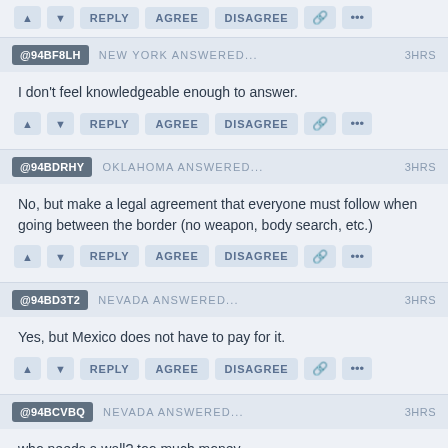[Action bar: up, down, REPLY, AGREE, DISAGREE, link, more]
@94BF8LH — NEW YORK ANSWERED... — 3HRS — I don't feel knowledgeable enough to answer.
@94BDRHY — OKLAHOMA ANSWERED... — 3HRS — No, but make a legal agreement that everyone must follow when going between the border (no weapon, body search, etc.)
@94BD3T2 — NEVADA ANSWERED... — 3HRS — Yes, but Mexico does not have to pay for it.
@94BCVBQ — NEVADA ANSWERED... — 3HRS — who needs a wall? too much money...